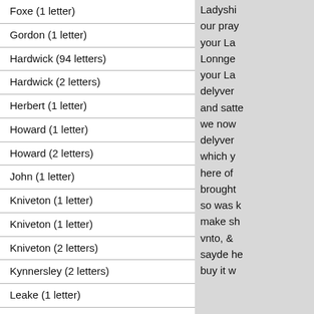Foxe (1 letter)
Gordon (1 letter)
Hardwick (94 letters)
Hardwick (2 letters)
Herbert (1 letter)
Howard (1 letter)
Howard (2 letters)
John (1 letter)
Kniveton (1 letter)
Kniveton (1 letter)
Kniveton (2 letters)
Kynnersley (2 letters)
Leake (1 letter)
Leake (1 letter)
Lenton (1 letter)
Ladyshi our pray your La Lonnge your La delyver and satte we now delyver which y here of brought so was k make sh vnto, & sayde he buy it w